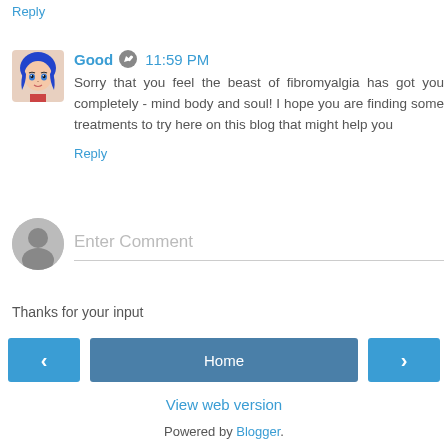Reply
Good  11:59 PM
Sorry that you feel the beast of fibromyalgia has got you completely - mind body and soul! I hope you are finding some treatments to try here on this blog that might help you
Reply
Enter Comment
Thanks for your input
< Home >
View web version
Powered by Blogger.